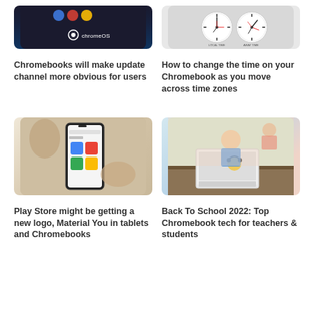[Figure (photo): ChromeOS interface on a dark background with chromeOS logo]
Chromebooks will make update channel more obvious for users
[Figure (photo): Two analog clocks showing different times on a light background]
How to change the time on your Chromebook as you move across time zones
[Figure (photo): A hand holding a smartphone showing the Play Store app interface]
Play Store might be getting a new logo, Material You in tablets and Chromebooks
[Figure (photo): A young child using a laptop computer with a Chromebook sticker]
Back To School 2022: Top Chromebook tech for teachers & students